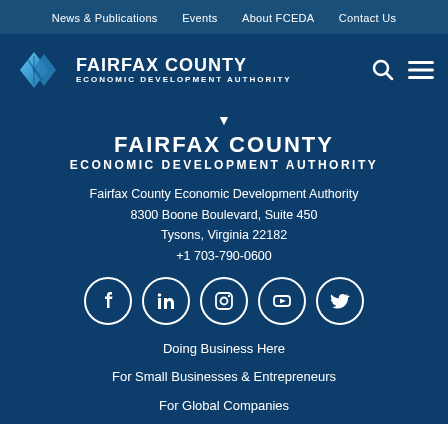News & Publications   Events   About FCEDA   Contact Us
[Figure (logo): Fairfax County Economic Development Authority logo with blue diamond icon and white text on dark blue header banner with search and menu icons]
FAIRFAX COUNTY
ECONOMIC DEVELOPMENT AUTHORITY
Fairfax County Economic Development Authority
8300 Boone Boulevard, Suite 450
Tysons, Virginia 22182
+1 703-790-0600
[Figure (infographic): Row of five social media icon circles: Facebook, LinkedIn, Instagram, YouTube, Twitter]
Doing Business Here
For Small Businesses & Entrepreneurs
For Global Companies